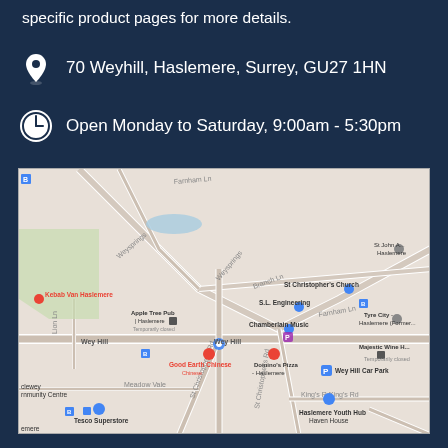specific product pages for more details.
70 Weyhill, Haslemere, Surrey, GU27 1HN
Open Monday to Saturday, 9:00am - 5:30pm
[Figure (map): Google Maps screenshot showing Weyhill area in Haslemere, Surrey, with landmarks including Tesco Superstore, Good Earth Chinese, Domino's Pizza Haslemere, Wey Hill Car Park, Chamberlain Music, Apple Tree Pub, S.L. Engineering, St Christopher's Church, Tyre City Haslemere, Majestic Wine, Haslemere Youth Hub Haven House, and other local landmarks.]